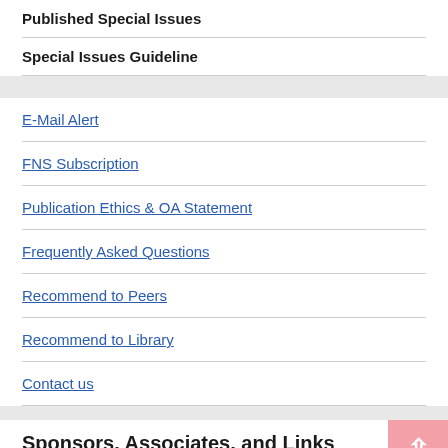Published Special Issues
Special Issues Guideline
E-Mail Alert
FNS Subscription
Publication Ethics & OA Statement
Frequently Asked Questions
Recommend to Peers
Recommend to Library
Contact us
Sponsors, Associates, and Links
Advances in Bioscience and Biotechnology